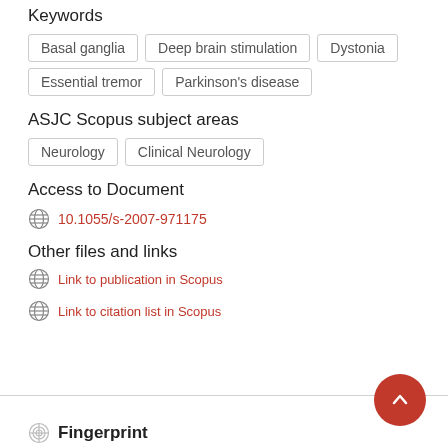Keywords
Basal ganglia
Deep brain stimulation
Dystonia
Essential tremor
Parkinson's disease
ASJC Scopus subject areas
Neurology
Clinical Neurology
Access to Document
10.1055/s-2007-971175
Other files and links
Link to publication in Scopus
Link to citation list in Scopus
Fingerprint